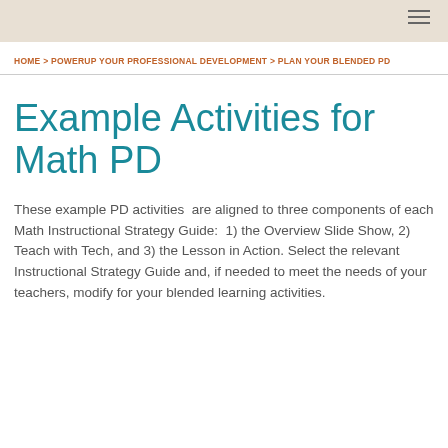HOME > POWERUP YOUR PROFESSIONAL DEVELOPMENT > PLAN YOUR BLENDED PD
Example Activities for Math PD
These example PD activities  are aligned to three components of each Math Instructional Strategy Guide:  1) the Overview Slide Show, 2) Teach with Tech, and 3) the Lesson in Action. Select the relevant Instructional Strategy Guide and, if needed to meet the needs of your teachers, modify for your blended learning activities.